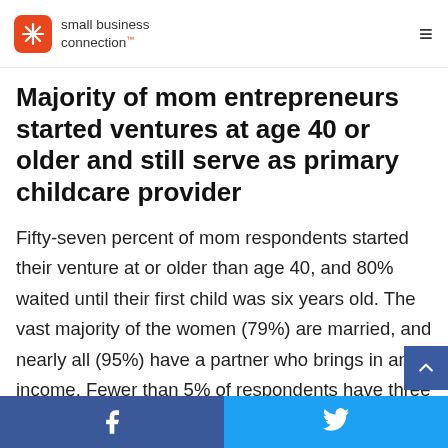small business connection
Majority of mom entrepreneurs started ventures at age 40 or older and still serve as primary childcare provider
Fifty-seven percent of mom respondents started their venture at or older than age 40, and 80% waited until their first child was six years old. The vast majority of the women (79%) are married, and nearly all (95%) have a partner who brings in an income. Fewer than 5% of respondents have three or more children – 79% have 1-2 kids, and more than two-thirds (71%) still serve as the primary childcare
Share on Facebook | Share on Twitter